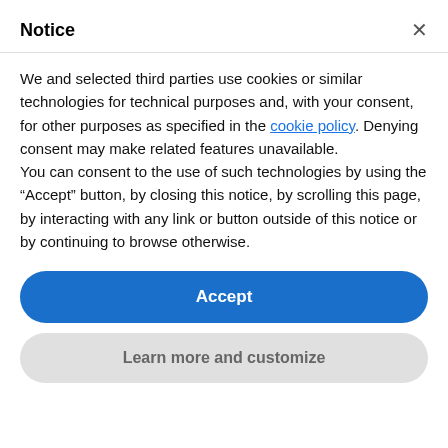Notice
We and selected third parties use cookies or similar technologies for technical purposes and, with your consent, for other purposes as specified in the cookie policy. Denying consent may make related features unavailable.
You can consent to the use of such technologies by using the “Accept” button, by closing this notice, by scrolling this page, by interacting with any link or button outside of this notice or by continuing to browse otherwise.
Accept
Learn more and customize
Recycling 2022
CMG Granulators will take part at Plastics Recycling Show Europe 2022